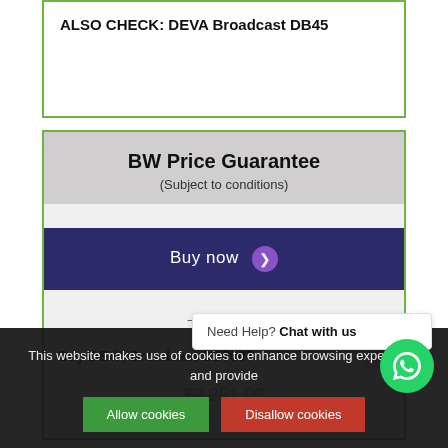ALSO CHECK: DEVA Broadcast DB45
BW Price Guarantee
(Subject to conditions)
Buy now
— OR —
Buy DEVA Broadcast DB7007
$2,251.00
This website makes use of cookies to enhance browsing experience and provide
Need Help? Chat with us
Allow cookies
Disallow cookies